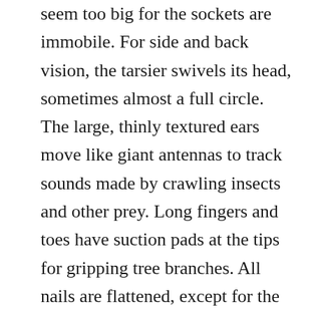seem too big for the sockets are immobile. For side and back vision, the tarsier swivels its head, sometimes almost a full circle. The large, thinly textured ears move like giant antennas to track sounds made by crawling insects and other prey. Long fingers and toes have suction pads at the tips for gripping tree branches. All nails are flattened, except for the second and third toes, which are grooming claws used for removing dead skin and parasites from the fur. The nearly naked tail has a sandy coloration, with a tuft of hair at the tip. The inside part of the tail has ridges that help prop the tarsier against a tree trunk or